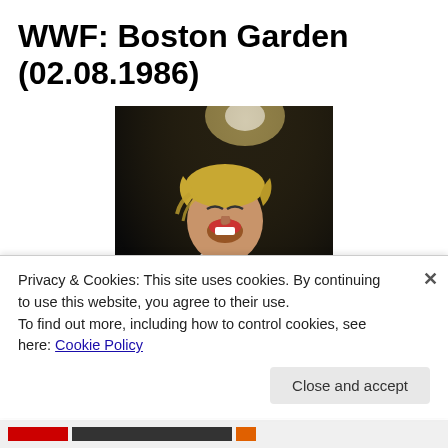WWF: Boston Garden (02.08.1986)
[Figure (photo): A male professional wrestler with blond hair, wearing a white t-shirt, red plaid trunks and a black belt, laughing and posing under a spotlight in an arena setting]
Privacy & Cookies: This site uses cookies. By continuing to use this website, you agree to their use.
To find out more, including how to control cookies, see here: Cookie Policy
Close and accept